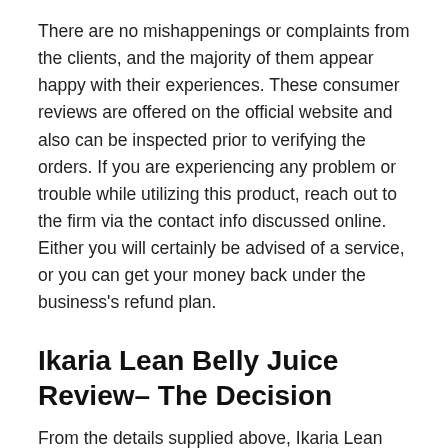There are no mishappenings or complaints from the clients, and the majority of them appear happy with their experiences. These consumer reviews are offered on the official website and also can be inspected prior to verifying the orders. If you are experiencing any problem or trouble while utilizing this product, reach out to the firm via the contact info discussed online. Either you will certainly be advised of a service, or you can get your money back under the business's refund plan.
Ikaria Lean Belly Juice Review– The Decision
From the details supplied above, Ikaria Lean Belly